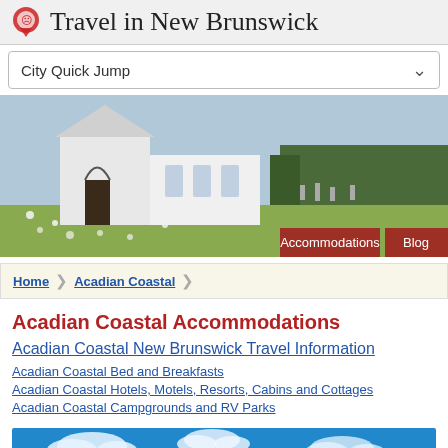Travel in New Brunswick
City Quick Jump
[Figure (photo): White church with wildflowers in foreground and trees in background, with Accommodations and Blog navigation buttons overlaid at bottom]
Home > Acadian Coastal
Acadian Coastal Accommodations
Acadian Coastal New Brunswick Travel Information
Acadian Coastal Bed and Breakfasts
Acadian Coastal Hotels, Motels, Resorts, Cabins and Cottages
Acadian Coastal Campgrounds and RV Parks
[Figure (photo): Blue sky with clouds — partial photo at bottom of page]